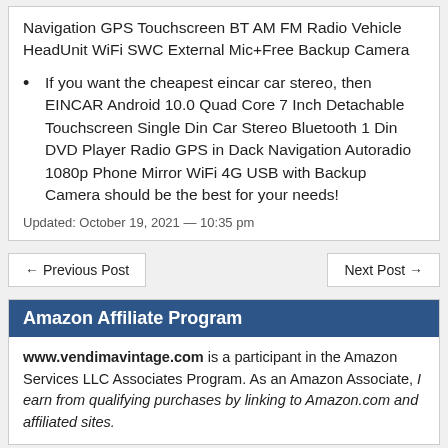Navigation GPS Touchscreen BT AM FM Radio Vehicle HeadUnit WiFi SWC External Mic+Free Backup Camera
If you want the cheapest eincar car stereo, then EINCAR Android 10.0 Quad Core 7 Inch Detachable Touchscreen Single Din Car Stereo Bluetooth 1 Din DVD Player Radio GPS in Dack Navigation Autoradio 1080p Phone Mirror WiFi 4G USB with Backup Camera should be the best for your needs!
Updated: October 19, 2021 — 10:35 pm
← Previous Post
Next Post →
Amazon Affiliate Program
www.vendimavintage.com is a participant in the Amazon Services LLC Associates Program. As an Amazon Associate, I earn from qualifying purchases by linking to Amazon.com and affiliated sites.
Recent Posts